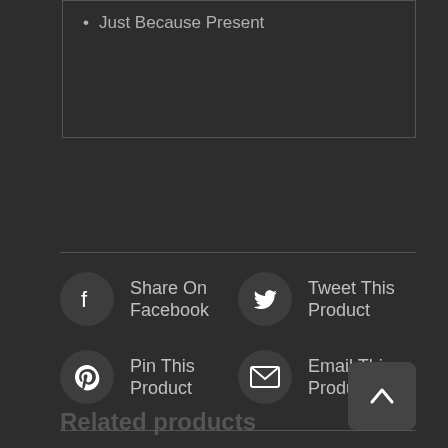Just Because Present
Share On Facebook
Tweet This Product
Pin This Product
Email This Product
Related products